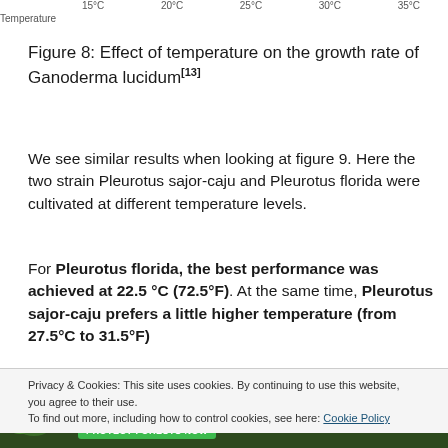[Figure (continuous-plot): Bottom portion of a temperature axis showing tick labels 15°C, 20°C, 25°C, 30°C, 35°C with 'Temperature' axis label below]
Figure 8: Effect of temperature on the growth rate of Ganoderma lucidum[13]
We see similar results when looking at figure 9. Here the two strain Pleurotus sajor-caju and Pleurotus florida were cultivated at different temperature levels.
For Pleurotus florida, the best performance was achieved at 22.5 °C (72.5°F). At the same time, Pleurotus sajor-caju prefers a little higher temperature (from 27.5°C to 31.5°F)
Privacy & Cookies: This site uses cookies. By continuing to use this website, you agree to their use.
To find out more, including how to control cookies, see here: Cookie Policy
[Figure (photo): Advertisement banner: forest/Amazon themed ad reading 'Just $2 can protect 1 acre of irreplaceable forest homes in the Amazon. How many acres are you willing to protect?' with a green PROTECT FORESTS NOW button]